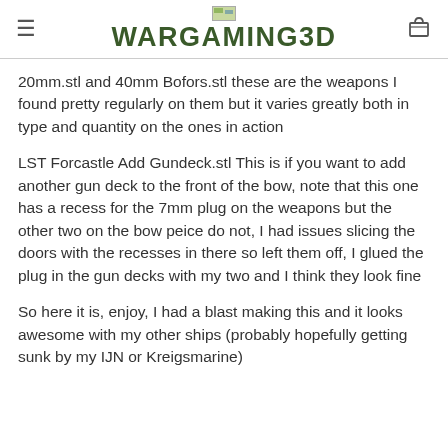WARGAMING3D
20mm.stl and 40mm Bofors.stl these are the weapons I found pretty regularly on them but it varies greatly both in type and quantity on the ones in action
LST Forcastle Add Gundeck.stl This is if you want to add another gun deck to the front of the bow, note that this one has a recess for the 7mm plug on the weapons but the other two on the bow peice do not, I had issues slicing the doors with the recesses in there so left them off, I glued the plug in the gun decks with my two and I think they look fine
So here it is, enjoy, I had a blast making this and it looks awesome with my other ships (probably hopefully getting sunk by my IJN or Kreigsmarine)